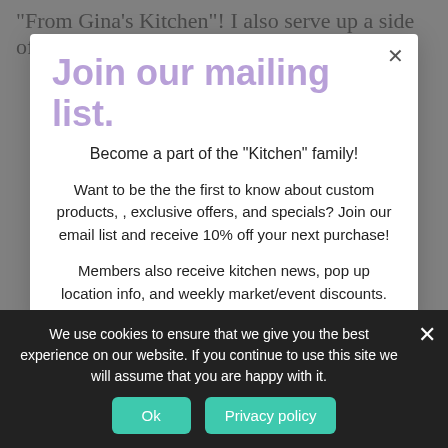"From Gina's Kitchen"! I also serve up a side of
Join our mailing list.
Become a part of the "Kitchen" family!
Want to be the the first to know about custom products, , exclusive offers, and specials? Join our email list and receive 10% off your next purchase!
Members also receive kitchen news, pop up location info, and weekly market/event discounts.
We use cookies to ensure that we give you the best experience on our website. If you continue to use this site we will assume that you are happy with it.
Ok
Privacy policy